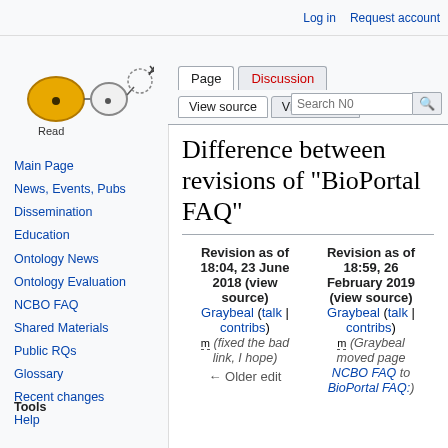Log in  Request account
[Figure (logo): Wiki logo with cell-like shapes connected by lines]
Page  Discussion  Read  View source  View history  Search No
Difference between revisions of "BioPortal FAQ"
Revision as of 18:04, 23 June 2018 (view source)
Graybeal (talk | contribs)
m (fixed the bad link, I hope)
← Older edit
Revision as of 18:59, 26 February 2019 (view source)
Graybeal (talk | contribs)
m (Graybeal moved page NCBO FAQ to BioPortal FAQ:
Main Page
News, Events, Pubs
Dissemination
Education
Ontology News
Ontology Evaluation
NCBO FAQ
Shared Materials
Public RQs
Glossary
Recent changes
Help
Tools